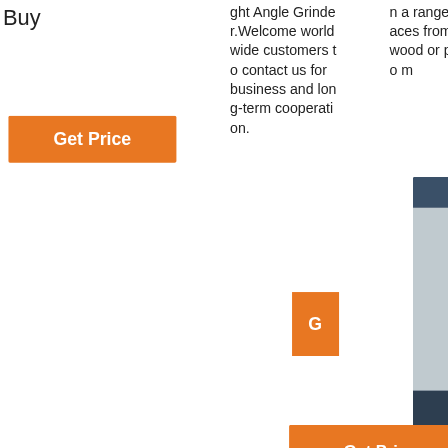Buy
ght Angle Grinder.Welcome world wide customers to contact us for business and long-term cooperation.
n a range of surfaces from metal, wood or plastic to m
[Figure (other): Orange 'Get Price' button]
[Figure (other): Small orange 'G' button]
[Figure (other): 24/7 Online chat panel with customer service representative photo, 'Click here for free chat!' text, and orange QUOTATION button]
[Figure (other): Orange 'Get Price' button (second)]
[Figure (photo): Gold/bronze colored drill bits grouped together]
[Figure (photo): Single gray metal chisel or mining bit]
[Figure (photo): Black drill bit with orange TOP logo watermark]